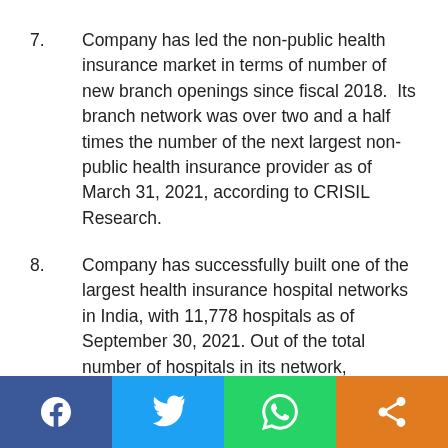7.    Company has led the non-public health insurance market in terms of number of new branch openings since fiscal 2018.  Its branch network was over two and a half times the number of the next largest non-public health insurance provider as of March 31, 2021, according to CRISIL Research.
8.    Company has successfully built one of the largest health insurance hospital networks in India, with 11,778 hospitals as of September 30, 2021. Out of the total number of hospitals in its network, company has entered into pre-agreed arrangements with 7,741 hospitals, or 65.7%, of the total number of hospitals in network as of September 30, 2021.